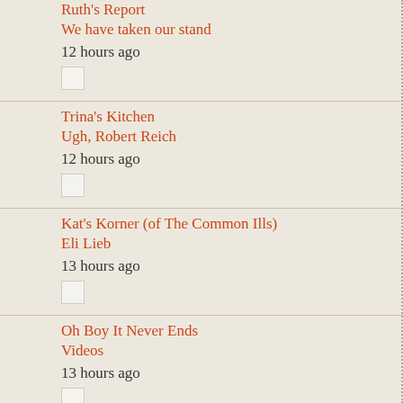Ruth's Report
We have taken our stand
12 hours ago
Trina's Kitchen
Ugh, Robert Reich
12 hours ago
Kat's Korner (of The Common Ills)
Eli Lieb
13 hours ago
Oh Boy It Never Ends
Videos
13 hours ago
Mikey Likes It!